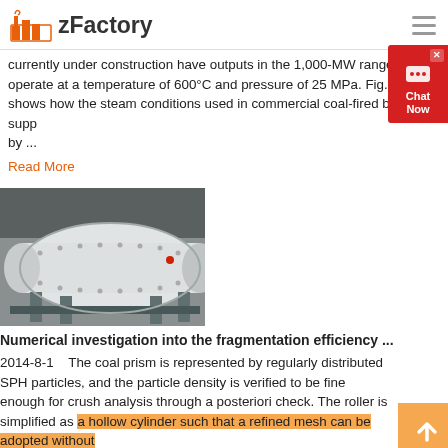zFactory
currently under construction have outputs in the 1,000-MW range and operate at a temperature of 600°C and pressure of 25 MPa. Fig. 4 shows how the steam conditions used in commercial coal-fired boilers supp by ...
Read More
[Figure (photo): Industrial ball mill or grinding machine, white cylindrical vessel with bolted flanges, inside a factory building]
Numerical investigation into the fragmentation efficiency ...
2014-8-1    The coal prism is represented by regularly distributed SPH particles, and the particle density is verified to be fine enough for crush analysis through a posteriori check. The roller is simplified as a hollow cylinder such that a refined mesh can be adopted without
Read More